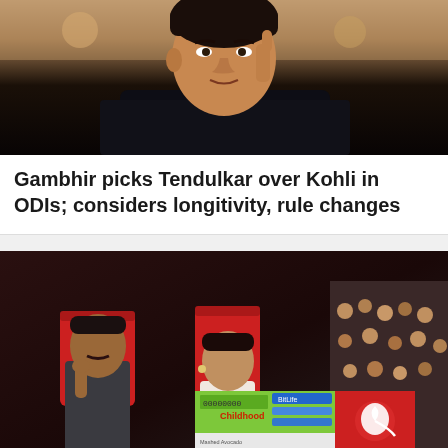[Figure (photo): Man in black shirt, hand raised to chin, thinking pose, indoor setting with blurred background]
Gambhir picks Tendulkar over Kohli in ODIs; considers longitivity, rule changes
[Figure (photo): Two people sitting in red cinema/theatre seats numbered 15 and 16 with a crowd in the background. An advertisement overlay for BitLife app appears in the bottom right corner with 'Install!' button.]
Install!